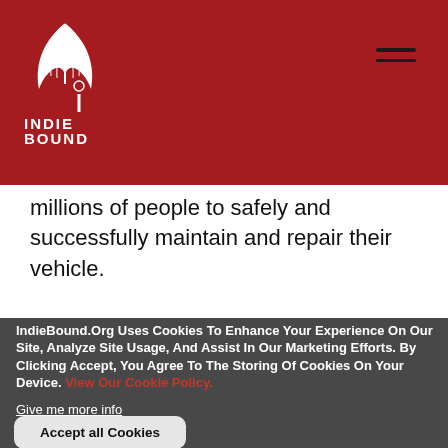IndieBound logo and navigation header
millions of people to safely and successfully maintain and repair their vehicle.
IndieBound.Org Uses Cookies To Enhance Your Experience On Our Site, Analyze Site Usage, And Assist In Our Marketing Efforts. By Clicking Accept, You Agree To The Storing Of Cookies On Your Device. View Our Cookie Policy.
Give me more info
Accept all Cookies